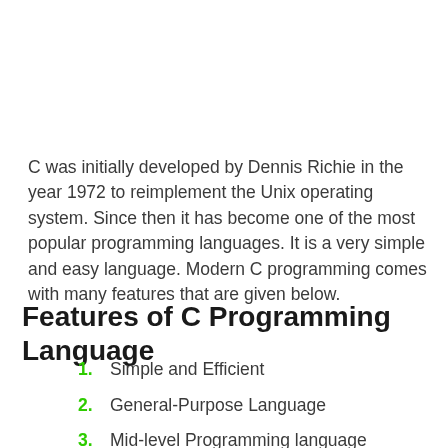C was initially developed by Dennis Richie in the year 1972 to reimplement the Unix operating system. Since then it has become one of the most popular programming languages. It is a very simple and easy language. Modern C programming comes with many features that are given below.
Features of C Programming Language
Simple and Efficient
General-Purpose Language
Mid-level Programming language
Structured Programming Language